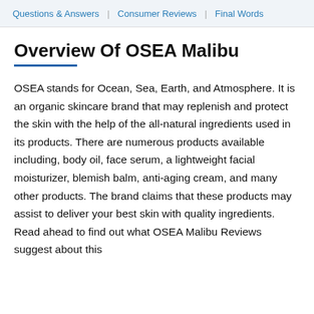Questions & Answers | Consumer Reviews | Final Words
Overview Of OSEA Malibu
OSEA stands for Ocean, Sea, Earth, and Atmosphere. It is an organic skincare brand that may replenish and protect the skin with the help of the all-natural ingredients used in its products. There are numerous products available including, body oil, face serum, a lightweight facial moisturizer, blemish balm, anti-aging cream, and many other products. The brand claims that these products may assist to deliver your best skin with quality ingredients. Read ahead to find out what OSEA Malibu Reviews suggest about this